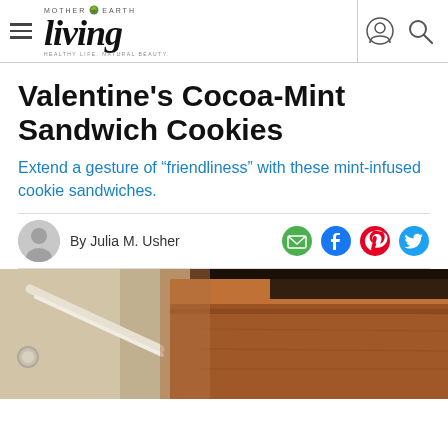Mother Earth Living — Valentine's Cocoa-Mint Sandwich Cookies
Valentine's Cocoa-Mint Sandwich Cookies
Extend a gesture of "friendliness" with these mint-infused cookie sandwiches.
By Julia M. Usher
[Figure (photo): Photo of a wooden furniture piece or stair banister with a white railing, partially visible at the bottom of the article page.]